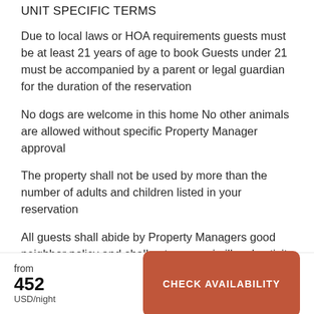UNIT SPECIFIC TERMS
Due to local laws or HOA requirements guests must be at least 21 years of age to book Guests under 21 must be accompanied by a parent or legal guardian for the duration of the reservation
No dogs are welcome in this home No other animals are allowed without specific Property Manager approval
The property shall not be used by more than the number of adults and children listed in your reservation
All guests shall abide by Property Managers good neighbor policy and shall not engage in illegal activity Quiet hours are from 10 pm to 8 am
If early checkin is available for your reservation you will
from 452 USD/night CHECK AVAILABILITY